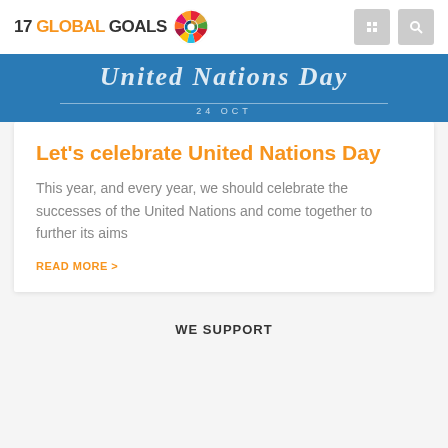17 GLOBAL GOALS
[Figure (screenshot): UN Day banner image with script text and date 24 OCT on blue background]
Let’s celebrate United Nations Day
This year, and every year, we should celebrate the successes of the United Nations and come together to further its aims
READ MORE >
WE SUPPORT